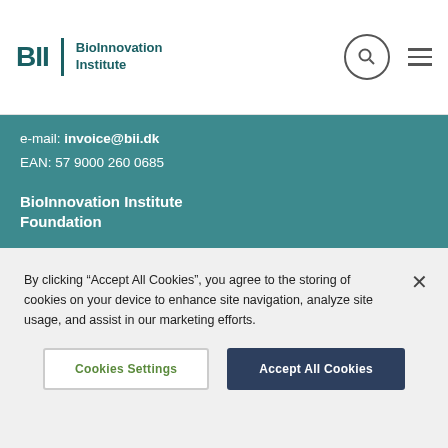BII BioInnovation Institute
e-mail: invoice@bii.dk
EAN: 57 9000 260 0685
BioInnovation Institute Foundation
CVR 4189 8666
e-mail: invoice@bii.dk
EAN: 57 9000 260 2504
By clicking “Accept All Cookies”, you agree to the storing of cookies on your device to enhance site navigation, analyze site usage, and assist in our marketing efforts.
Cookies Settings | Accept All Cookies